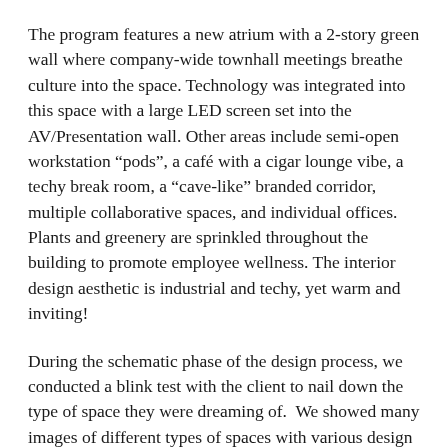The program features a new atrium with a 2-story green wall where company-wide townhall meetings breathe culture into the space. Technology was integrated into this space with a large LED screen set into the AV/Presentation wall. Other areas include semi-open workstation “pods”, a café with a cigar lounge vibe, a techy break room, a “cave-like” branded corridor, multiple collaborative spaces, and individual offices. Plants and greenery are sprinkled throughout the building to promote employee wellness. The interior design aesthetic is industrial and techy, yet warm and inviting!
During the schematic phase of the design process, we conducted a blink test with the client to nail down the type of space they were dreaming of.  We showed many images of different types of spaces with various design aesthetics and the stakeholders were given only a few seconds to vote yes, no, or maybe on each image.  In the end, we gathered all images all three stakeholders like and discussed what they liked about them to really understand what the clients were looking